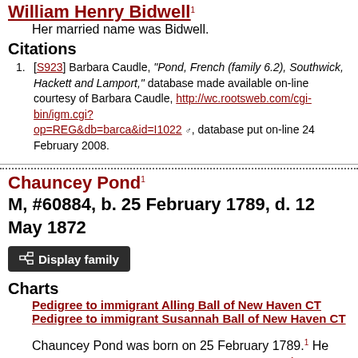William Henry Bidwell.¹ Her married name was Bidwell.
Citations
[S923] Barbara Caudle, "Pond, French (family 6.2), Southwick, Hackett and Lamport," database made available on-line courtesy of Barbara Caudle, http://wc.rootsweb.com/cgi-bin/igm.cgi?op=REG&db=barca&id=I1022, database put on-line 24 February 2008.
Chauncey Pond¹ M, #60884, b. 25 February 1789, d. 12 May 1872
Display family
Charts
Pedigree to immigrant Alling Ball of New Haven CT
Pedigree to immigrant Susannah Ball of New Haven CT
Chauncey Pond was born on 25 February 1789.¹ He was the son of Beriah Pond and Sylvia Sanford.¹ Chauncey Pond married Susannah Bell.¹ Chauncey Pond died on 12 May 1872 at age 83.¹ He was buried at